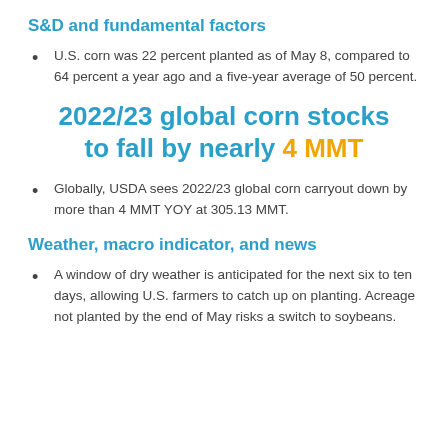S&D and fundamental factors
U.S. corn was 22 percent planted as of May 8, compared to 64 percent a year ago and a five-year average of 50 percent.
2022/23 global corn stocks to fall by nearly 4 MMT
Globally, USDA sees 2022/23 global corn carryout down by more than 4 MMT YOY at 305.13 MMT.
Weather, macro indicator, and news
A window of dry weather is anticipated for the next six to ten days, allowing U.S. farmers to catch up on planting. Acreage not planted by the end of May risks a switch to soybeans.